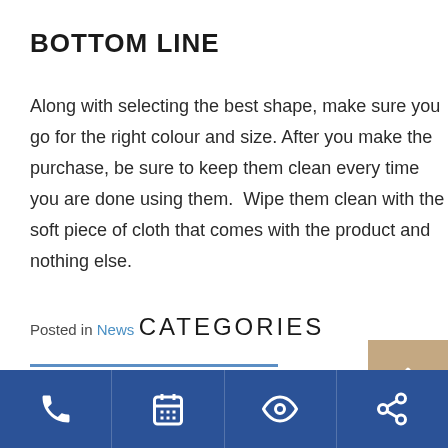BOTTOM LINE
Along with selecting the best shape, make sure you go for the right colour and size. After you make the purchase, be sure to keep them clean every time you are done using them.  Wipe them clean with the soft piece of cloth that comes with the product and nothing else.
Posted in News
CATEGORIES
Footer navigation bar with phone, calendar, eye, and share icons